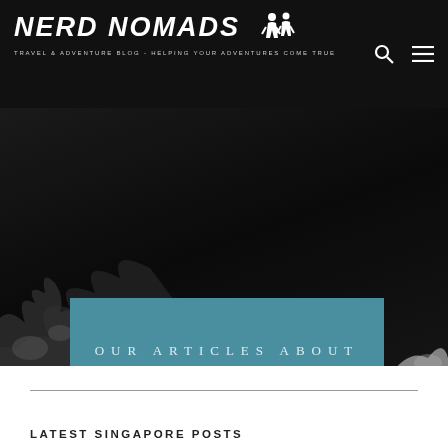NERD NOMADS - TRAVEL & ADVENTURE BLOG - HELPING YOUR ADVENTURES COME TRUE
[Figure (screenshot): Dark hero image area with black/dark textured background, with splatter/ink effect at bottom]
OUR ARTICLES ABOUT Singapore
LATEST SINGAPORE POSTS